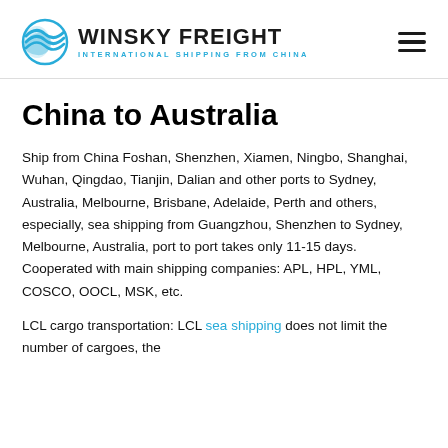WINSKY FREIGHT — INTERNATIONAL SHIPPING FROM CHINA
China to Australia
Ship from China Foshan, Shenzhen, Xiamen, Ningbo, Shanghai, Wuhan, Qingdao, Tianjin, Dalian and other ports to Sydney, Australia, Melbourne, Brisbane, Adelaide, Perth and others, especially, sea shipping from Guangzhou, Shenzhen to Sydney, Melbourne, Australia, port to port takes only 11-15 days. Cooperated with main shipping companies: APL, HPL, YML, COSCO, OOCL, MSK, etc.
LCL cargo transportation: LCL sea shipping does not limit the number of cargoes, the